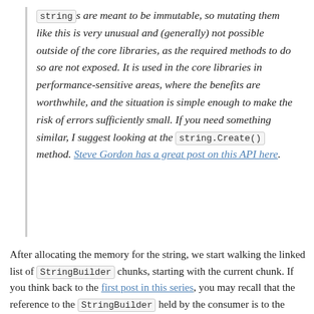strings are meant to be immutable, so mutating them like this is very unusual and (generally) not possible outside of the core libraries, as the required methods to do so are not exposed. It is used in the core libraries in performance-sensitive areas, where the benefits are worthwhile, and the situation is simple enough to make the risk of errors sufficiently small. If you need something similar, I suggest looking at the string.Create() method. Steve Gordon has a great post on this API here.
After allocating the memory for the string, we start walking the linked list of StringBuilder chunks, starting with the current chunk. If you think back to the first post in this series, you may recall that the reference to the StringBuilder held by the consumer is to the head of